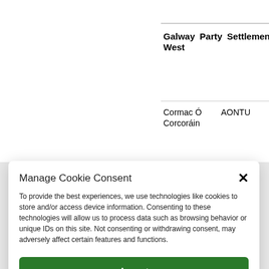| Galway West | Party | Settlements | An Tra... |
| --- | --- | --- | --- |
| Cormac Ó Corcoráin | AONTU |  |  |
Manage Cookie Consent
To provide the best experiences, we use technologies like cookies to store and/or access device information. Consenting to these technologies will allow us to process data such as browsing behavior or unique IDs on this site. Not consenting or withdrawing consent, may adversely affect certain features and functions.
Accept
Deny
View preferences
Cookie Policy